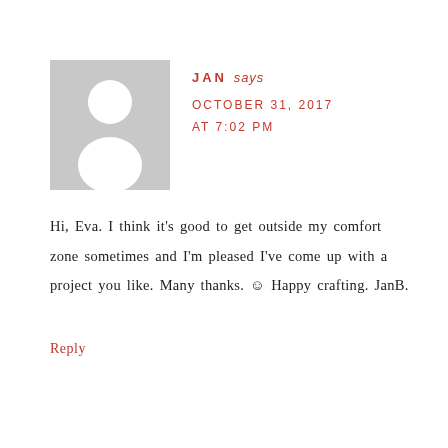[Figure (illustration): Gray placeholder avatar icon showing a generic person silhouette (head and shoulders) on a gray square background]
JAN says
OCTOBER 31, 2017
AT 7:02 PM
Hi, Eva. I think it's good to get outside my comfort zone sometimes and I'm pleased I've come up with a project you like. Many thanks. 😊 Happy crafting. JanB.
Reply